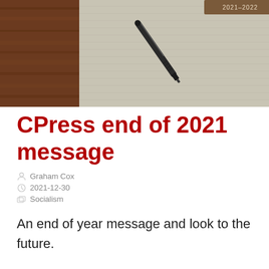[Figure (photo): A notebook/planner labeled 2021-2022 with a dark pen lying on top, placed on a wooden surface. The notebook has a light beige/linen texture cover.]
CPress end of 2021 message
Graham Cox
2021-12-30
Socialism
An end of year message and look to the future.